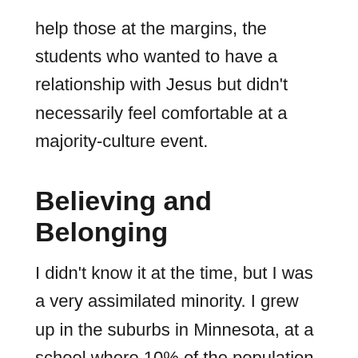help those at the margins, the students who wanted to have a relationship with Jesus but didn't necessarily feel comfortable at a majority-culture event.
Believing and Belonging
I didn't know it at the time, but I was a very assimilated minority. I grew up in the suburbs in Minnesota, at a school where 10% of the population was Asian-